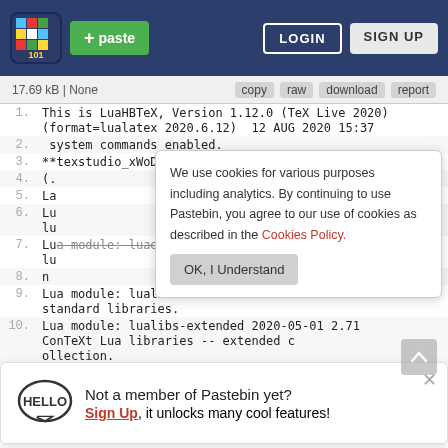Pastebin navigation bar with logo, + paste button, LOGIN and SIGN UP buttons
17.69 kB | None   copy  raw  download  report
1. This is LuaHBTeX, Version 1.12.0 (TeX Live 2020)
   (format=lualatex 2020.6.12)  12 AUG 2020 15:37
2.  system commands enabled.
3. **texstudio_xWoDQG.tex
4. (.
5. La
6. Lu
   lu
7. Lua module: luaotfload.init 2020.05.06 2.14
   lu
8. n
9. Lua module: lualibs 2020-05-01 2.71 ConTeXt Lua
   standard libraries.
10. Lua module: lualibs-extended 2020-05-01 2.71
    ConTeXt Lua libraries -- extended c
    ollection.
11. ollection.
We use cookies for various purposes including analytics. By continuing to use Pastebin, you agree to our use of cookies as described in the Cookies Policy.   OK, I Understand
Not a member of Pastebin yet? Sign Up, it unlocks many cool features!